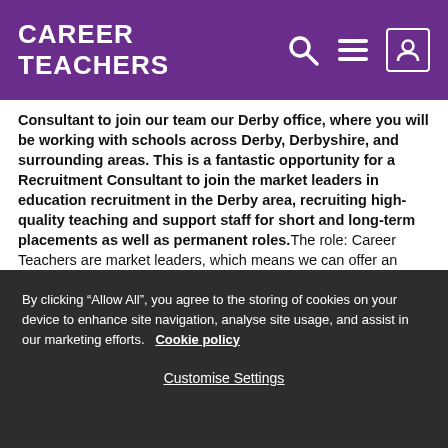CAREER TEACHERS
Consultant to join our team our Derby office, where you will be working with schools across Derby, Derbyshire, and surrounding areas. This is a fantastic opportunity for a Recruitment Consultant to join the market leaders in education recruitment in the Derby area, recruiting high-quality teaching and support staff for short and long-term placements as well as permanent roles. The role: Career Teachers are market leaders, which means we can offer an unrivalled service to both schools and teachers as well as our own staff. The role is demanding and diverse and involves:* Working with a large client base - many of the schools work exclusively with ourselves* Using sales, business development
By clicking “Allow All”, you agree to the storing of cookies on your device to enhance site navigation, analyse site usage, and assist in our marketing efforts.  Cookie policy
Customise Settings